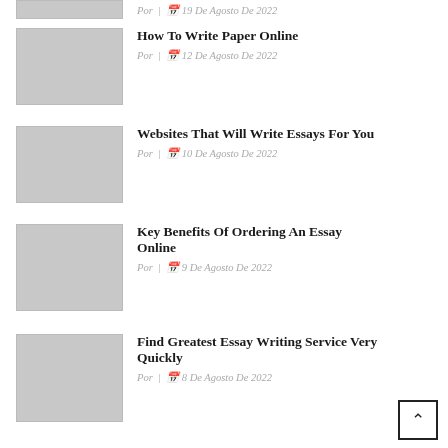[Figure (photo): Partial grey thumbnail image at top]
Por | 19 De Agosto De 2022
[Figure (photo): Grey placeholder thumbnail]
How To Write Paper Online
Por | 12 De Agosto De 2022
[Figure (photo): Grey placeholder thumbnail]
Websites That Will Write Essays For You
Por | 10 De Agosto De 2022
[Figure (photo): Grey placeholder thumbnail]
Key Benefits Of Ordering An Essay Online
Por | 9 De Agosto De 2022
[Figure (photo): Grey placeholder thumbnail]
Find Greatest Essay Writing Service Very Quickly
Por | 8 De Agosto De 2022